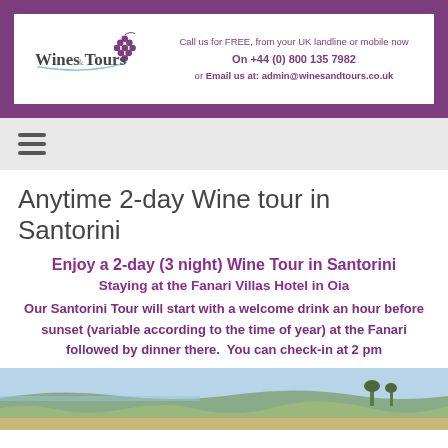Call us for FREE, from your UK landline or mobile now On +44 (0) 800 135 7982 or Email us at: admin@winesandtours.co.uk
Anytime 2-day Wine tour in Santorini
Enjoy a 2-day (3 night) Wine Tour in Santorini
Staying at the Fanari Villas Hotel in Oia
Our Santorini Tour will start with a welcome drink an hour before sunset (variable according to the time of year) at the Fanari followed by dinner there.  You can check-in at 2 pm
[Figure (photo): Landscape photo of Santorini scenery with sky, sea, and vegetation in the foreground]